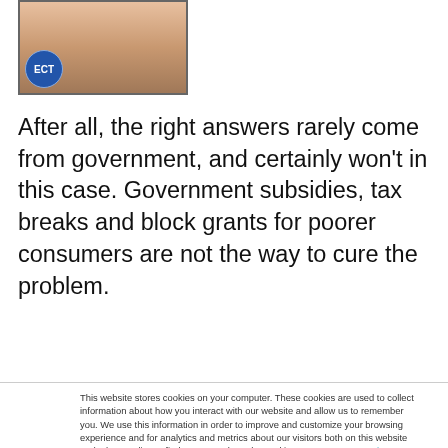[Figure (photo): Photo of a person (partially visible, cropped) with an ECT logo badge overlay in bottom-left corner]
After all, the right answers rarely come from government, and certainly won't in this case. Government subsidies, tax breaks and block grants for poorer consumers are not the way to cure the problem.
This website stores cookies on your computer. These cookies are used to collect information about how you interact with our website and allow us to remember you. We use this information in order to improve and customize your browsing experience and for analytics and metrics about our visitors both on this website and other media. To find out more about the cookies we use, see our Privacy Policy. California residents have the right to direct us not to sell their personal information to third parties by filing an Opt-Out Request: Do Not Sell My Personal Info.
Accept